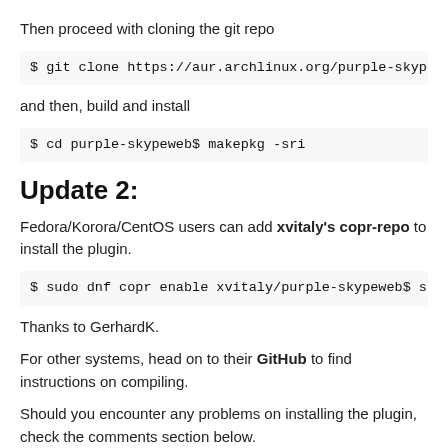Then proceed with cloning the git repo
$ git clone https://aur.archlinux.org/purple-skype
and then, build and install
$ cd purple-skypeweb$ makepkg -sri
Update 2:
Fedora/Korora/CentOS users can add xvitaly's copr-repo to install the plugin.
$ sudo dnf copr enable xvitaly/purple-skypeweb$ su
Thanks to GerhardK.
For other systems, head on to their GitHub to find instructions on compiling.
Should you encounter any problems on installing the plugin, check the comments section below.